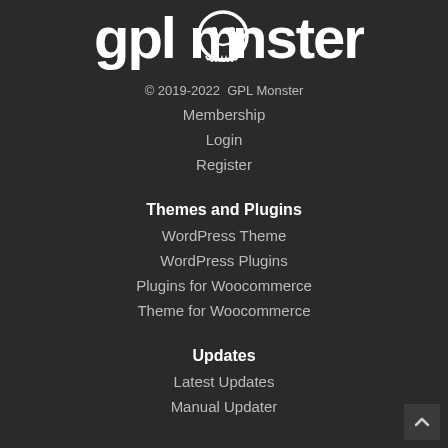[Figure (logo): GPL Monster logo with stylized text and monster icon]
© 2019-2022  GPL Monster
Membership
Login
Register
Themes and Plugins
WordPress Theme
WordPress Plugins
Plugins for Woocommerce
Theme for Woocommerce
Updates
Latest Updates
Manual Updater